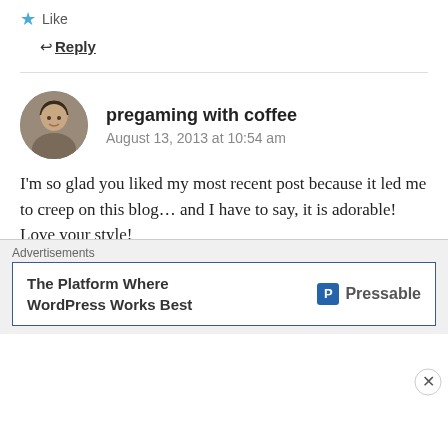★ Like
↵ Reply
pregaming with coffee
August 13, 2013 at 10:54 am
I'm so glad you liked my most recent post because it led me to creep on this blog... and I have to say, it is adorable! Love your style!
★ Like
↵ Reply
Advertisements
The Platform Where WordPress Works Best — Pressable